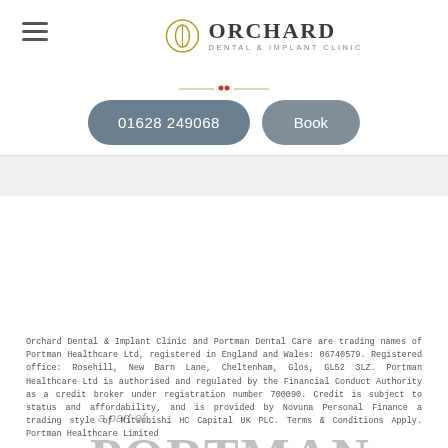[Figure (logo): Orchard Dental & Implant Clinic logo with circular icon and name]
01628 249068   Book
a part of PORTMAN dental care
Orchard Dental & Implant Clinic and Portman Dental Care are trading names of Portman Healthcare Ltd, registered in England and Wales: 06740579. Registered office: Rosehill, New Barn Lane, Cheltenham, Glos, GL52 3LZ. Portman Healthcare Ltd is authorised and regulated by the Financial Conduct Authority as a credit broker under registration number 700090. Credit is subject to status and affordability, and is provided by Novuna Personal Finance a trading style of Mitsubishi HC Capital UK PLC. Terms & Conditions Apply. Portman Healthcare Limited